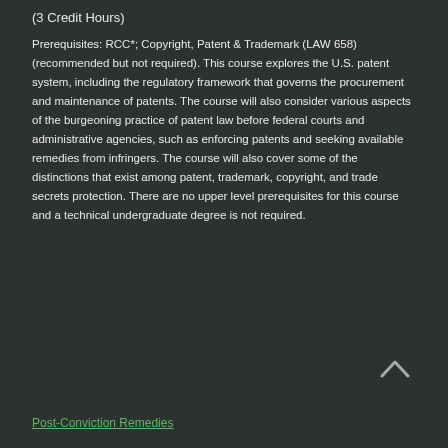(3 Credit Hours)
Prerequisites: RCC*; Copyright, Patent & Trademark (LAW 658) (recommended but not required). This course explores the U.S. patent system, including the regulatory framework that governs the procurement and maintenance of patents. The course will also consider various aspects of the burgeoning practice of patent law before federal courts and administrative agencies, such as enforcing patents and seeking available remedies from infringers. The course will also cover some of the distinctions that exist among patent, trademark, copyright, and trade secrets protection. There are no upper level prerequisites for this course and a technical undergraduate degree is not required.
Post-Conviction Remedies